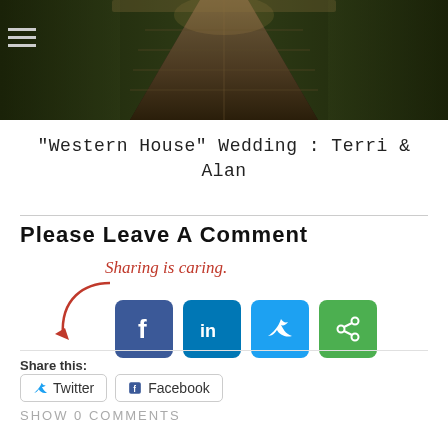[Figure (photo): Dark moody photograph of a pathway or walkway viewed from above, with grass on the sides]
“Western House” Wedding : Terri & Alan
Please Leave A Comment
[Figure (infographic): Sharing is caring callout with red cursive text and arrow pointing to social media icons: Facebook, LinkedIn, Twitter, and a green share icon]
Share this:
Twitter  Facebook
SHOW 0 COMMENTS
Add a comment…